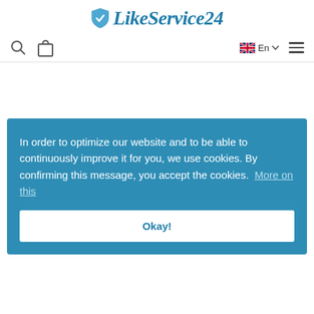[Figure (logo): LikeService24 logo with blue shield icon and italic text]
[Figure (infographic): Navigation bar with search icon, shopping bag icon, UK flag language selector showing En, and hamburger menu icon]
In order to optimize our website and to be able to continuously improve it for you, we use cookies. By confirming this message, you accept the cookies. More on this
Okay!